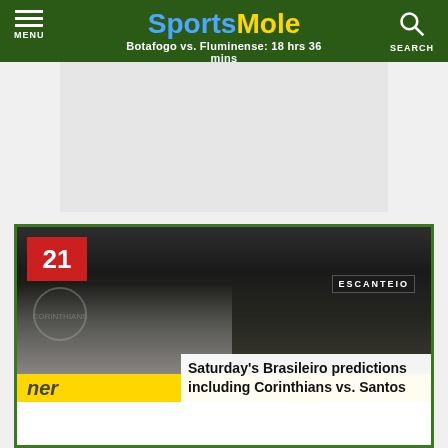Sports Mole — Botafogo vs. Fluminense: 18 hrs 36 mins
[Figure (photo): SportsMole website screenshot showing header navigation with menu and search buttons, an advertisement area, and an article card featuring a football match photo with players celebrating, a red number badge showing 21, ESCANTEIO text, and article title overlay]
Saturday's Brasileiro predictions including Corinthians vs. Santos